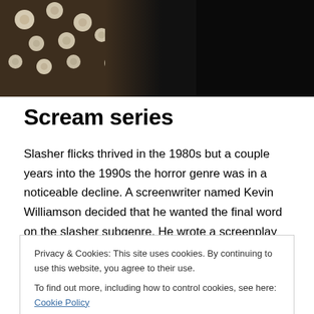[Figure (photo): Dark photograph showing flowers (white/cream) against a dark background, cropped at top of page]
Scream series
Slasher flicks thrived in the 1980s but a couple years into the 1990s the horror genre was in a noticeable decline. A screenwriter named Kevin Williamson decided that he wanted the final word on the slasher subgenre. He wrote a screenplay that was simultaneously a parody of and loving tribute to classic flicks like Halloween and Friday the
Privacy & Cookies: This site uses cookies. By continuing to use this website, you agree to their use.
To find out more, including how to control cookies, see here: Cookie Policy
Close and accept
on the slasher flick subgenre. The film, Scream, benefited